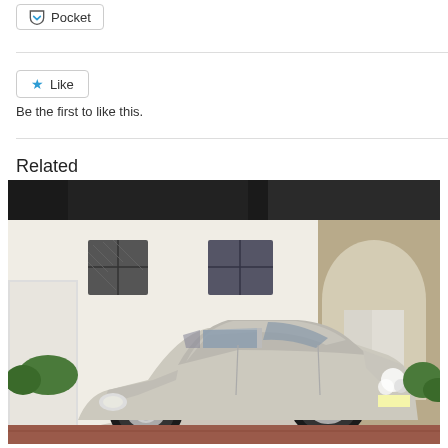Pocket
Like
Be the first to like this.
Related
[Figure (photo): A vintage classic car, light grey/cream color, parked in front of a white rendered house with a stone archway and dark roof tiles. The car appears to be a 1960s Jaguar or similar British classic saloon.]